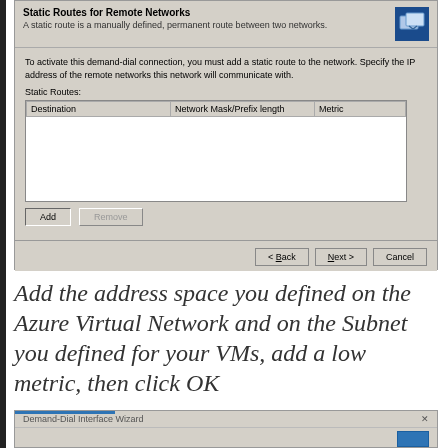[Figure (screenshot): Windows Demand-Dial Interface Wizard dialog showing Static Routes for Remote Networks. Contains a table with columns Destination, Network Mask/Prefix length, Metric. Has Add and Remove buttons, and Back, Next, Cancel navigation buttons at the bottom.]
Add the address space you defined on the Azure Virtual Network and on the Subnet you defined for your VMs, add a low metric, then click OK
[Figure (screenshot): Bottom portion of a Demand-Dial Interface Wizard dialog, showing the title bar with a blue progress bar and a close button.]